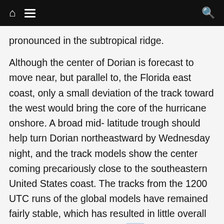Navigation bar with home icon, hamburger menu, and search icon
pronounced in the subtropical ridge.
Although the center of Dorian is forecast to move near, but parallel to, the Florida east coast, only a small deviation of the track toward the west would bring the core of the hurricane onshore. A broad mid- latitude trough should help turn Dorian northeastward by Wednesday night, and the track models show the center coming precariously close to the southeastern United States coast. The tracks from the 1200 UTC runs of the global models have remained fairly stable, which has resulted in little overall change to the latest NHC track forecast.